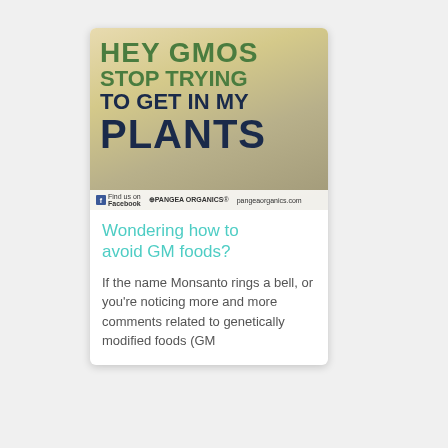[Figure (photo): Anti-GMO promotional poster with text 'HEY GMOs STOP TRYING TO GET IN MY PLANTS' in green and dark navy bold letters on a light beige/tan background. Footer shows Facebook and Pangea Organics branding with pangeaorganics.com URL.]
Wondering how to avoid GM foods?
If the name Monsanto rings a bell, or you're noticing more and more comments related to genetically modified foods (GM